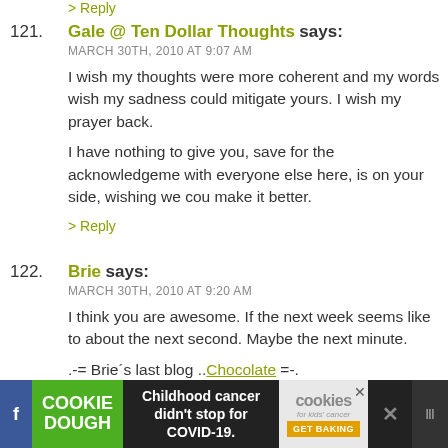> Reply (top, partially visible)
121. Gale @ Ten Dollar Thoughts says:
MARCH 30TH, 2010 AT 9:07 AM
I wish my thoughts were more coherent and my words wish my sadness could mitigate yours. I wish my prayer back.
I have nothing to give you, save for the acknowledgeme with everyone else here, is on your side, wishing we cou make it better.
> Reply
122. Brie says:
MARCH 30TH, 2010 AT 9:20 AM
I think you are awesome. If the next week seems like to about the next second. Maybe the next minute.
.-= Brie´s last blog ..Chocolate =-.
> Reply
[Figure (infographic): Cookie Dough advertisement banner: green Cookie Dough logo on left, text 'Childhood cancer didn't stop for COVID-19.' in center, cookies for kids' cancer GET BAKING promo on right, with close button]